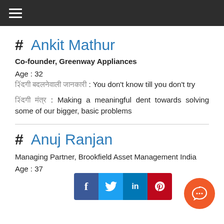≡
# Ankit Mathur
Co-founder, Greenway Appliances
Age : 32
जिंदगी बदलनेवाली जानकारी : You don't know till you don't try
जिंदगी मंत्र : Making a meaningful dent towards solving some of our bigger, basic problems
# Anuj Ranjan
Managing Partner, Brookfield Asset Management India
Age : 37